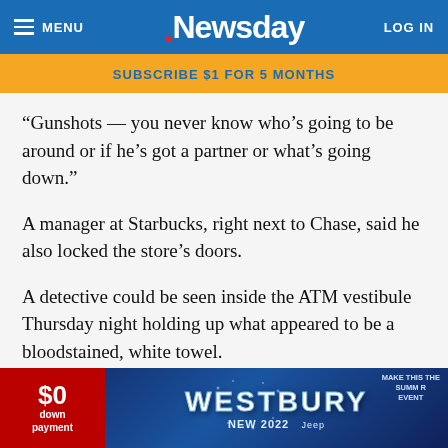MENU | Newsday | LOG IN
SUBSCRIBE $1 FOR 5 MONTHS
“Gunshots — you never know who’s going to be around or if he’s got a partner or what’s going down.”
A manager at Starbucks, right next to Chase, said he also locked the store’s doors.
A detective could be seen inside the ATM vestibule Thursday night holding up what appeared to be a bloodstained, white towel.
The shooting comes on the same day two Queens men were arraigned in Suffolk on bank robbery charges after leading ... suit Wednesday ... to a
[Figure (screenshot): Westbury Jeep advertisement banner with $0 down payment offer, NEW 2022, blue background with stars]